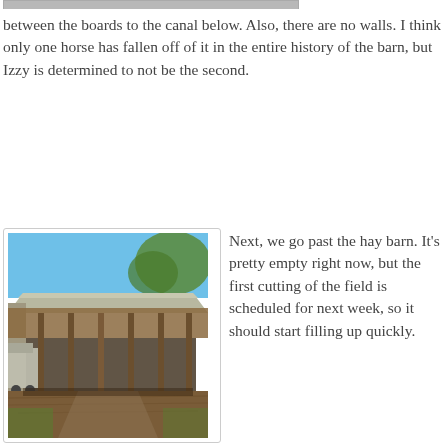[Figure (photo): Top portion of a photo (partially cropped at top of page) showing a barn or bridge structure over a canal]
between the boards to the canal below. Also, there are no walls. I think only one horse has fallen off of it in the entire history of the barn, but Izzy is determined to not be the second.
[Figure (photo): A large open hay barn with a metal roof, open sides, a horse trailer to the left, trees surrounding it, dirt ground]
Next, we go past the hay barn. It's pretty empty right now, but the first cutting of the field is scheduled for next week, so it should start filling up quickly.